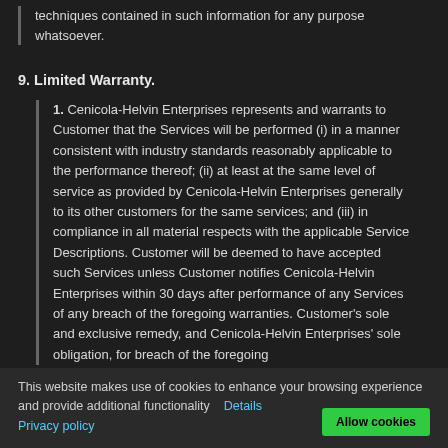techniques contained in such information for any purpose whatsoever.
9. Limited Warranty.
1. Cenicola-Helvin Enterprises represents and warrants to Customer that the Services will be performed (i) in a manner consistent with industry standards reasonably applicable to the performance thereof; (ii) at least at the same level of service as provided by Cenicola-Helvin Enterprises generally to its other customers for the same services; and (iii) in compliance in all material respects with the applicable Service Descriptions. Customer will be deemed to have accepted such Services unless Customer notifies Cenicola-Helvin Enterprises within 30 days after performance of any Services of any breach of the foregoing warranties. Customer's sole and exclusive remedy, and Cenicola-Helvin Enterprises' sole obligation, for breach of the foregoing
This website makes use of cookies to enhance your browsing experience and provide additional functionality   Details
Privacy policy